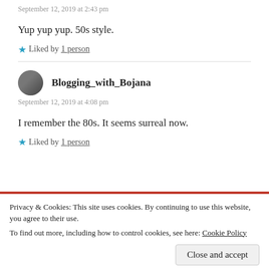September 12, 2019 at 2:43 pm
Yup yup yup. 50s style.
Liked by 1 person
Blogging_with_Bojana
September 12, 2019 at 4:08 pm
I remember the 80s. It seems surreal now.
Liked by 1 person
Privacy & Cookies: This site uses cookies. By continuing to use this website, you agree to their use.
To find out more, including how to control cookies, see here: Cookie Policy
Close and accept